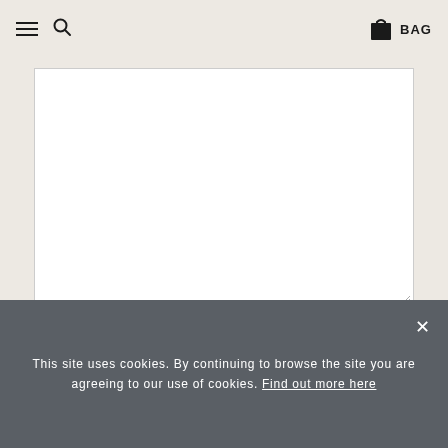Navigation bar with hamburger menu, search icon, and BAG icon
[Figure (screenshot): Empty white textarea input box with resize handle at bottom right]
[Figure (other): reCAPTCHA widget with checkbox labeled 'I'm not a robot' and reCAPTCHA logo with Privacy and Terms links]
This site uses cookies. By continuing to browse the site you are agreeing to our use of cookies. Find out more here